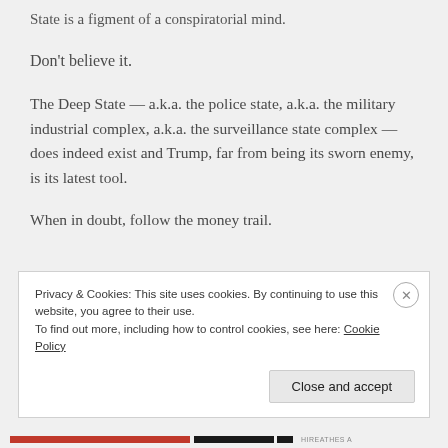State is a figment of a conspiratorial mind.
Don't believe it.
The Deep State — a.k.a. the police state, a.k.a. the military industrial complex, a.k.a. the surveillance state complex — does indeed exist and Trump, far from being its sworn enemy, is its latest tool.
When in doubt, follow the money trail.
Privacy & Cookies: This site uses cookies. By continuing to use this website, you agree to their use.
To find out more, including how to control cookies, see here: Cookie Policy